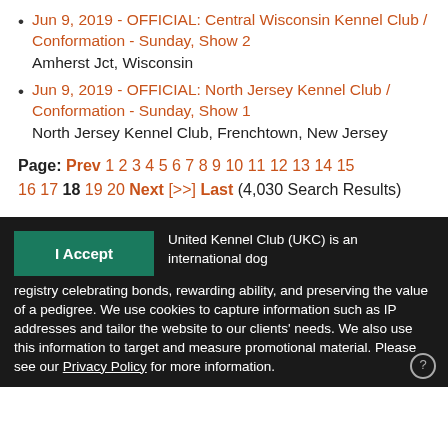Jun 9, 2019 - OFFICIAL: Central Wisconsin Kennel Club / Conformation - Sunday, Show 2
Amherst Jct, Wisconsin
Jun 9, 2019 - OFFICIAL: North Jersey Kennel Club / Conformation - Sunday, Show 1
North Jersey Kennel Club, Frenchtown, New Jersey
Page: Prev 1 2 3 4 5 6 7 8 9 10 11 12 13 14 15 16 17 18 19 20 Next [>>] Last (4,030 Search Results)
United Kennel Club (UKC) is an international dog registry celebrating bonds, rewarding ability, and preserving the value of a pedigree. We use cookies to capture information such as IP addresses and tailor the website to our clients' needs. We also use this information to target and measure promotional material. Please see our Privacy Policy for more information.